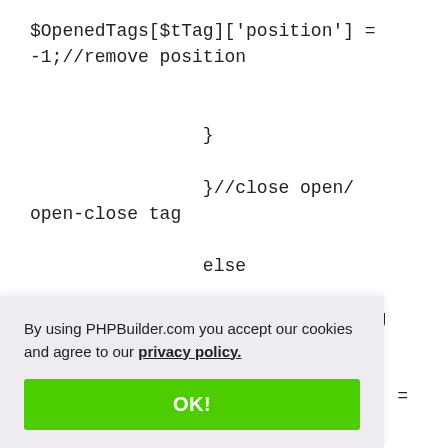$OpenedTags[$tTag]['position'] = -1;//remove position

            }

            }//close open/open-close tag

            else

            {//Found open tag that doesn't need closing!

            $OpenedTags[$Key] =
            position ,

            }//close
By using PHPBuilder.com you accept our cookies and agree to our privacy policy.
OK!